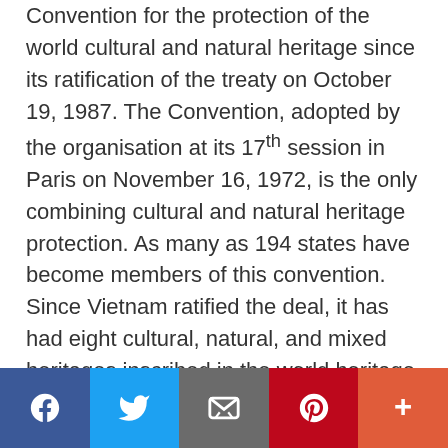Convention for the protection of the world cultural and natural heritage since its ratification of the treaty on October 19, 1987. The Convention, adopted by the organisation at its 17th session in Paris on November 16, 1972, is the only combining cultural and natural heritage protection. As many as 194 states have become members of this convention. Since Vietnam ratified the deal, it has had eight cultural, natural, and mixed heritages inscribed in the world heritage list. In addition, according to UNESCO's Memory of the World programme, Vietnam has seven documentary heritages at the Asia-Pacific and world level. The nation also houses nine biosphere reserves of the
[Figure (infographic): Social sharing bar at the bottom with Facebook (blue), Twitter (light blue), Email (grey), Pinterest (red), and More (orange-red) buttons with white icons]